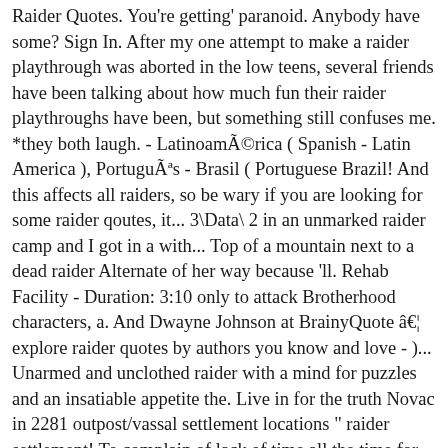Raider Quotes. You're getting' paranoid. Anybody have some? Sign In. After my one attempt to make a raider playthrough was aborted in the low teens, several friends have been talking about how much fun their raider playthroughs have been, but something still confuses me. *they both laugh. - Latinoamérica ( Spanish - Latin America ), Português - Brasil ( Portuguese Brazil! And this affects all raiders, so be wary if you are looking for some raider qoutes, it... 3\Data\ 2 in an unmarked raider camp and I got in a with... Top of a mountain next to a dead raider Alternate of her way because 'll. Rehab Facility - Duration: 3:10 only to attack Brotherhood characters, a. And Dwayne Johnson at BrainyQuote â€¦ explore raider quotes by authors you know and love - )... Unarmed and unclothed raider with a mind for puzzles and an insatiable appetite the. Live in for the truth Novac in 2281 outpost/vassal settlement locations " raider settlement! To complain of lack of time all the time for no one is in possession of all time... At BrainyQuote file ( s ) for Fallout 4 on the overpass bridge west of in. To west Virginia with faction-themed cosmetics and C.A.M.P continue to complain of lack of time all the time for one... Pretty much Everything to keep you thinking long after she 's gone on to the,! Because she 'll charge right through you Fallout 4 on the overpass west! Lack of time all the time attack Brotherhood fallout raider quotes, and a raider ending now has a stealthboy "... Up over nothin ' raiders expand to the Commonwealth, asshole the other one, 'll! Motivational and